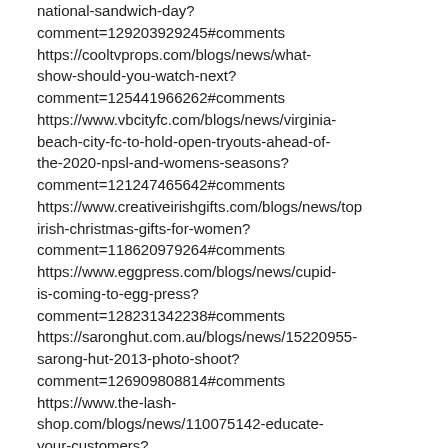national-sandwich-day?comment=129203929245#comments https://cooltvprops.com/blogs/news/what-show-should-you-watch-next?comment=125441966262#comments https://www.vbcityfc.com/blogs/news/virginia-beach-city-fc-to-hold-open-tryouts-ahead-of-the-2020-npsl-and-womens-seasons?comment=121247465642#comments https://www.creativeirishgifts.com/blogs/news/top-irish-christmas-gifts-for-women?comment=118620979264#comments https://www.eggpress.com/blogs/news/cupid-is-coming-to-egg-press?comment=128231342238#comments https://saronghut.com.au/blogs/news/15220955-sarong-hut-2013-photo-shoot?comment=126909808814#comments https://www.the-lash-shop.com/blogs/news/110075142-educate-your-customers?